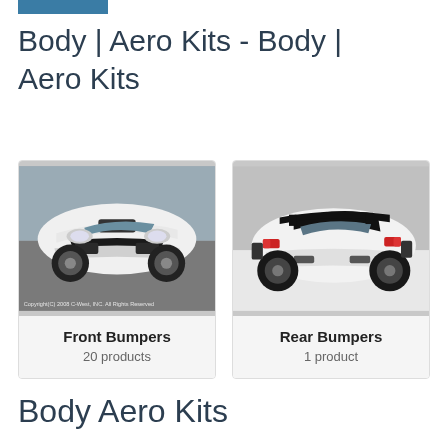Body | Aero Kits - Body | Aero Kits
[Figure (photo): White Mitsubishi Lancer with front bumper aero kit, viewed from the front]
Front Bumpers
20 products
[Figure (photo): White Ferrari with black rear bumper aero kit, viewed from the rear]
Rear Bumpers
1 product
Body Aero Kits